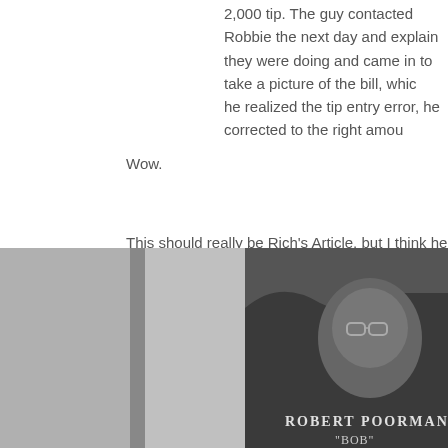2,000 tip. The guy contacted Robbie the next day and explain they were doing and came in to take a picture of the bill, whic he realized the tip entry error, he corrected to the right amou
Wow.
This should really be Rich's Article, but I think he's indisposed at the
Posted by Ben Connor Barrie at 2:27 PM   0 comments
Who Will Be the Next Voice of Michigan
[Figure (photo): Black and white photo of a relief plaque showing a portrait sculpture of Robert Poorman Ufer 'Bob']